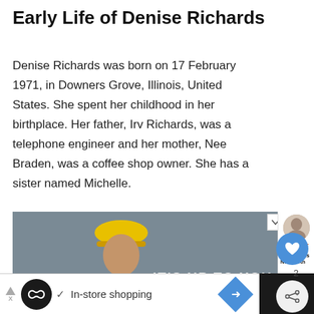Early Life of Denise Richards
Denise Richards was born on 17 February 1971, in Downers Grove, Illinois, United States. She spent her childhood in her birthplace. Her father, Irv Richards, was a telephone engineer and her mother, Nee Braden, was a coffee shop owner. She has a sister named Michelle.
[Figure (photo): Photo of a bearded man wearing a yellow hard hat, with text overlay reading 'IT'S UP TO YOU']
[Figure (screenshot): Bottom advertisement banner with black circle logo, checkmark, 'In-store shopping' text, and blue diamond arrow icon]